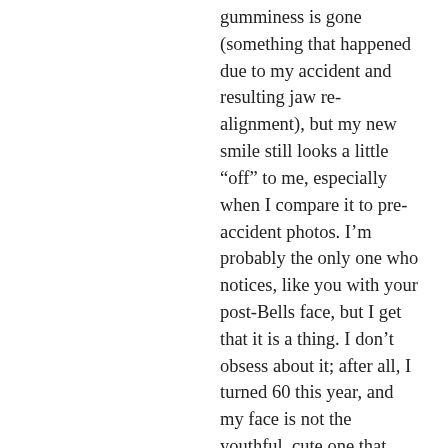gumminess is gone (something that happened due to my accident and resulting jaw re-alignment), but my new smile still looks a little "off" to me, especially when I compare it to pre-accident photos. I'm probably the only one who notices, like you with your post-Bells face, but I get that it is a thing. I don't obsess about it; after all, I turned 60 this year, and my face is not the youthful, cute one that smiles back at me from photos taken during my younger days. But still…I hear you, and I feel much the same. When your facial appearance changes suddenly, rather than gradually with age, it is jarring. That said, I think you are beautiful, and your smile is absolutely radiant! Thank you for sharing your journey. (BTW, the photo of me associated with this WordPress account is my "old" face from before my accident, and at least five years younger than